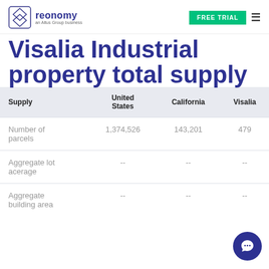reonomy an Altus Group business | FREE TRIAL
Visalia Industrial property total supply
| Supply | United States | California | Visalia |
| --- | --- | --- | --- |
| Number of parcels | 1,374,526 | 143,201 | 479 |
| Aggregate lot acerage | -- | -- | -- |
| Aggregate building area | -- | -- | -- |